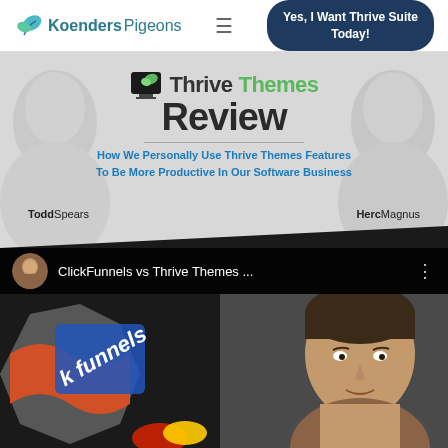KoendersPigeons | Yes, I Want Thrive Suite Today!
[Figure (screenshot): Thrive Themes Review banner with two face silhouettes, logo, subtitle about personal use of Thrive Themes features, and author names ToddSpears and HercMagnus]
[Figure (screenshot): YouTube video thumbnail for ClickFunnels vs Thrive Themes showing avatar, title text, and video imagery with clickfunnels logo and a man's face]